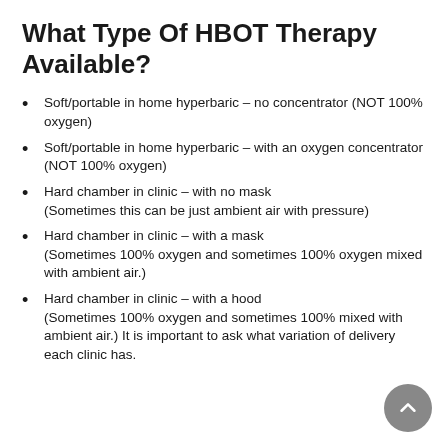What Type Of HBOT Therapy Available?
Soft/portable in home hyperbaric – no concentrator (NOT 100% oxygen)
Soft/portable in home hyperbaric – with an oxygen concentrator (NOT 100% oxygen)
Hard chamber in clinic – with no mask (Sometimes this can be just ambient air with pressure)
Hard chamber in clinic – with a mask (Sometimes 100% oxygen and sometimes 100% oxygen mixed with ambient air.)
Hard chamber in clinic – with a hood (Sometimes 100% oxygen and sometimes 100% mixed with ambient air.) It is important to ask what variation of delivery each clinic has.